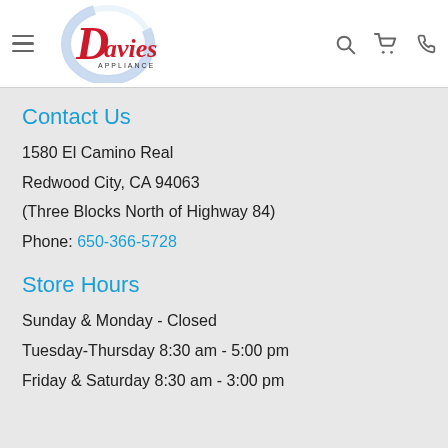[Figure (logo): Davies Appliance logo with stylized red script and blue circular swoosh]
Contact Us
1580 El Camino Real
Redwood City, CA 94063
(Three Blocks North of Highway 84)
Phone: 650-366-5728
Store Hours
Sunday & Monday - Closed
Tuesday-Thursday 8:30 am - 5:00 pm
Friday & Saturday 8:30 am - 3:00 pm